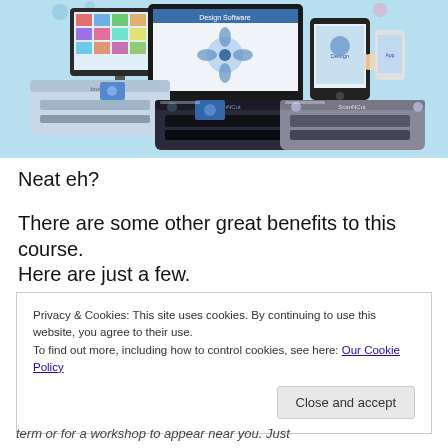[Figure (photo): Product photo showing crafting/cutting machines (including a Brother machine) alongside tablets and desktop monitors displaying design software, on a light blue background.]
Neat eh?
There are some other great benefits to this course.
Here are just a few.
Privacy & Cookies: This site uses cookies. By continuing to use this website, you agree to their use.
To find out more, including how to control cookies, see here: Our Cookie Policy
Close and accept
term or for a workshop to appear near you. Just